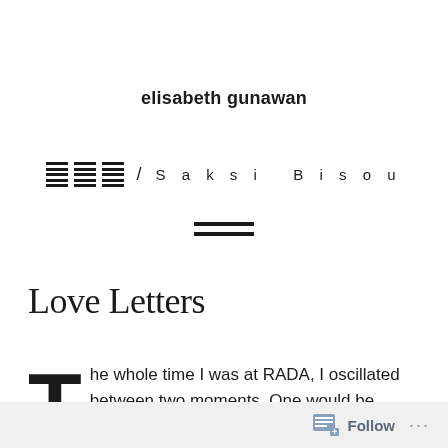elisabeth gunawan
≡ ≡ ≡ / S a k s i  B i s o u
[Figure (other): Equal sign / horizontal divider lines used as navigation element]
Love Letters
The whole time I was at RADA, I oscillated between two moments. One would be
Follow ...